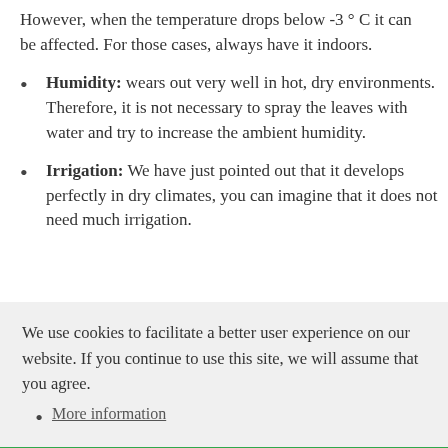However, when the temperature drops below -3 ° C it can be affected. For those cases, always have it indoors.
Humidity: wears out very well in hot, dry environments. Therefore, it is not necessary to spray the leaves with water and try to increase the ambient humidity.
Irrigation: We have just pointed out that it develops perfectly in dry climates, you can imagine that it does not need much irrigation.
We use cookies to facilitate a better user experience on our website. If you continue to use this site, we will assume that you agree.
More information
I agree